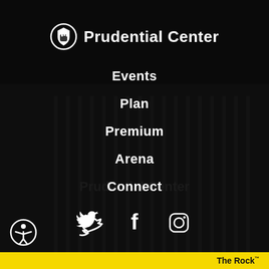[Figure (logo): Prudential Center logo with shield/rock icon and text 'Prudential Center' in white on dark background]
Events
Plan
Premium
Arena
Connect
[Figure (illustration): Social media icons: Twitter bird, Facebook f, Instagram camera outline in white]
[Figure (illustration): Accessibility icon (person in circle) bottom left]
The Rock™